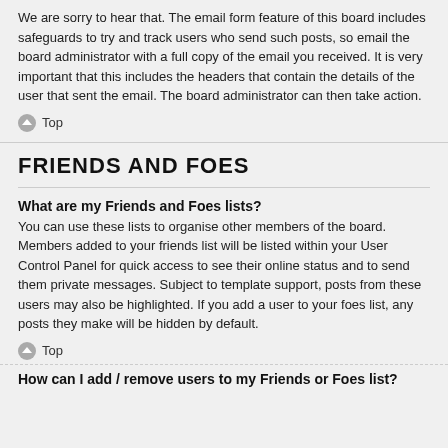We are sorry to hear that. The email form feature of this board includes safeguards to try and track users who send such posts, so email the board administrator with a full copy of the email you received. It is very important that this includes the headers that contain the details of the user that sent the email. The board administrator can then take action.
Top
FRIENDS AND FOES
What are my Friends and Foes lists?
You can use these lists to organise other members of the board. Members added to your friends list will be listed within your User Control Panel for quick access to see their online status and to send them private messages. Subject to template support, posts from these users may also be highlighted. If you add a user to your foes list, any posts they make will be hidden by default.
Top
How can I add / remove users to my Friends or Foes list?